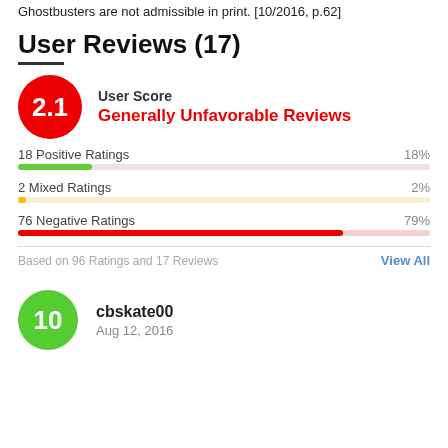Ghostbusters are not admissible in print. [10/2016, p.62]
User Reviews (17)
[Figure (infographic): User score badge: red circle with '2.1', label 'User Score', verdict 'Generally Unfavorable Reviews' in red]
18 Positive Ratings  18%
2 Mixed Ratings  2%
76 Negative Ratings  79%
Based on 96 Ratings and 17 Reviews    View All
cbskate00
Aug 12, 2016